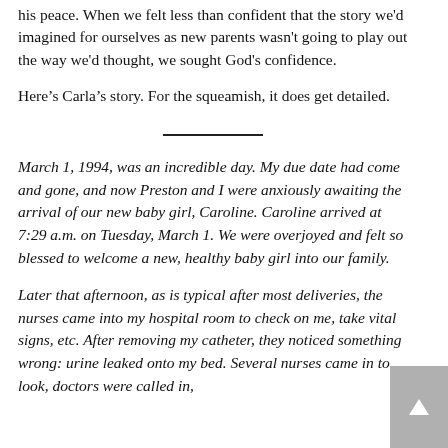his peace. When we felt less than confident that the story we'd imagined for ourselves as new parents wasn't going to play out the way we'd thought, we sought God's confidence.
Here’s Carla’s story. For the squeamish, it does get detailed.
March 1, 1994, was an incredible day. My due date had come and gone, and now Preston and I were anxiously awaiting the arrival of our new baby girl, Caroline. Caroline arrived at 7:29 a.m. on Tuesday, March 1. We were overjoyed and felt so blessed to welcome a new, healthy baby girl into our family.
Later that afternoon, as is typical after most deliveries, the nurses came into my hospital room to check on me, take vital signs, etc. After removing my catheter, they noticed something wrong: urine leaked onto my bed. Several nurses came in to look, doctors were called in,